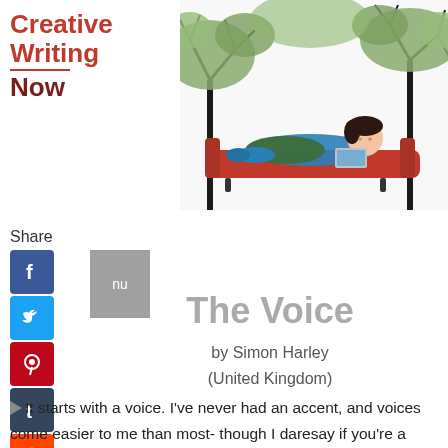Creative Writing Now
[Figure (illustration): Illustration of a person with dark hair lying on a red couch/sofa, reading or using a laptop, surrounded by stylized trees with bare black branches and green foliage]
Share
[Figure (infographic): Social media sharing buttons: Facebook (blue), Twitter (blue bird), Pinterest (red), Tumblr (dark blue), Reddit (orange), WhatsApp (green), and a grey box with 'nu' text]
The Voice
by Simon Harley
(United Kingdom)
It starts with a voice. I've never had an accent, and voices come easier to me than most- though I daresay if you're a native of a country or region I'm impersonating, you'd be